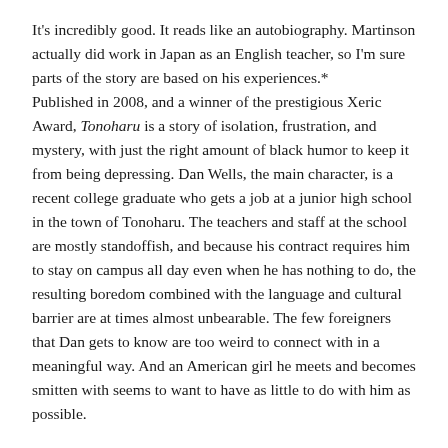It's incredibly good. It reads like an autobiography. Martinson actually did work in Japan as an English teacher, so I'm sure parts of the story are based on his experiences.* Published in 2008, and a winner of the prestigious Xeric Award, Tonoharu is a story of isolation, frustration, and mystery, with just the right amount of black humor to keep it from being depressing. Dan Wells, the main character, is a recent college graduate who gets a job at a junior high school in the town of Tonoharu. The teachers and staff at the school are mostly standoffish, and because his contract requires him to stay on campus all day even when he has nothing to do, the resulting boredom combined with the language and cultural barrier are at times almost unbearable. The few foreigners that Dan gets to know are too weird to connect with in a meaningful way. And an American girl he meets and becomes smitten with seems to want to have as little to do with him as possible.